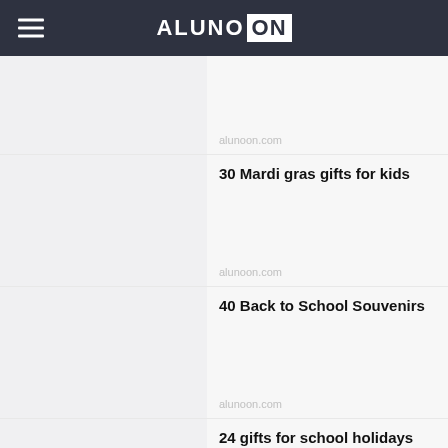ALUNO ON
30 Mardi gras gifts for kids
alunoon.com
40 Back to School Souvenirs
alunoon.com
24 gifts for school holidays
alunoon.com